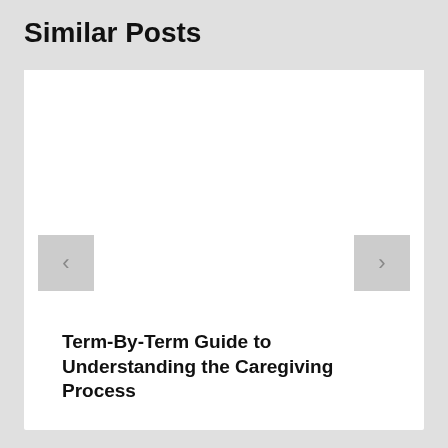Similar Posts
[Figure (other): White card area with navigation arrows (left and right) for a carousel of similar blog posts. The image area is blank/white.]
Term-By-Term Guide to Understanding the Caregiving Process